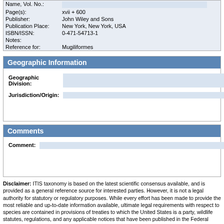| Field | Value |
| --- | --- |
| Name, Vol. No.: |  |
| Page(s): | xvii + 600 |
| Publisher: | John Wiley and Sons |
| Publication Place: | New York, New York, USA |
| ISBN/ISSN: | 0-471-54713-1 |
| Notes: |  |
| Reference for: | Mugiliformes |
Geographic Information
| Field | Value |
| --- | --- |
| Geographic Division: |  |
| Jurisdiction/Origin: |  |
Comments
| Field | Value |
| --- | --- |
| Comment: |  |
Disclaimer: ITIS taxonomy is based on the latest scientific consensus available, and is provided as a general reference source for interested parties. However, it is not a legal authority for statutory or regulatory purposes. While every effort has been made to provide the most reliable and up-to-date information available, ultimate legal requirements with respect to species are contained in provisions of treaties to which the United States is a party, wildlife statutes, regulations, and any applicable notices that have been published in the Federal Register. For further information on U.S. legal requirements with respect to protected taxa, please visit the Species Legal Status Database.